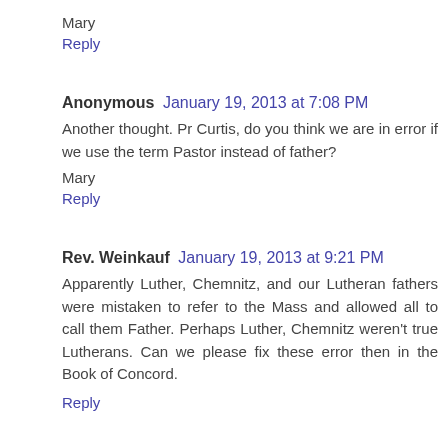Mary
Reply
Anonymous January 19, 2013 at 7:08 PM
Another thought. Pr Curtis, do you think we are in error if we use the term Pastor instead of father?
Mary
Reply
Rev. Weinkauf January 19, 2013 at 9:21 PM
Apparently Luther, Chemnitz, and our Lutheran fathers were mistaken to refer to the Mass and allowed all to call them Father. Perhaps Luther, Chemnitz weren't true Lutherans. Can we please fix these error then in the Book of Concord.
Reply